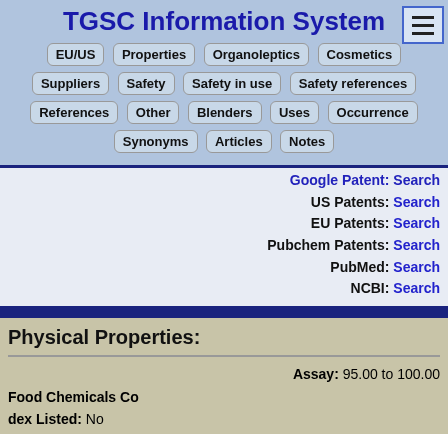TGSC Information System
EU/US | Properties | Organoleptics | Cosmetics | Suppliers | Safety | Safety in use | Safety references | References | Other | Blenders | Uses | Occurrence | Synonyms | Articles | Notes
Google Patent: Search
US Patents: Search
EU Patents: Search
Pubchem Patents: Search
PubMed: Search
NCBI: Search
Physical Properties:
Assay: 95.00 to 100.00
Food Chemicals Codex Listed: No